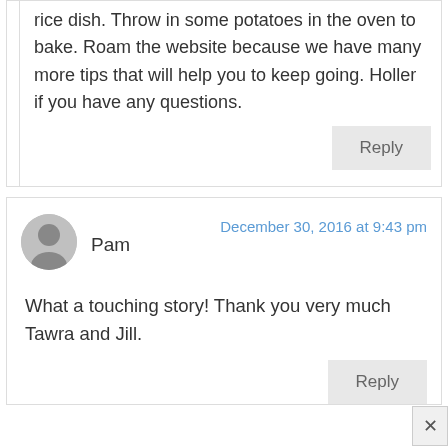rice dish. Throw in some potatoes in the oven to bake. Roam the website because we have many more tips that will help you to keep going. Holler if you have any questions.
Reply
Pam
December 30, 2016 at 9:43 pm
What a touching story! Thank you very much Tawra and Jill.
Reply